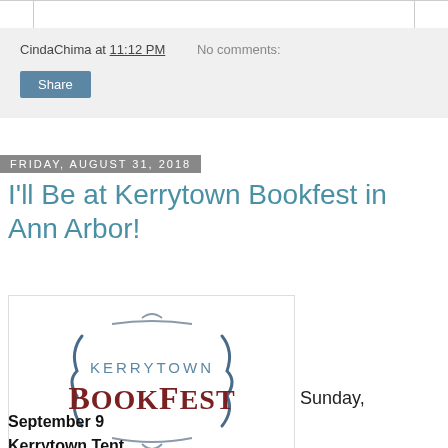CindaChima at 11:12 PM   No comments:
Share
Friday, August 31, 2018
I'll Be at Kerrytown Bookfest in Ann Arbor!
[Figure (logo): Kerrytown BookFest logo with curly bracket decorations, 'KERRYTOWN' in steel blue and 'BOOKFEST' in dark maroon serif font]
Sunday, September 9 Kerrytown Tent